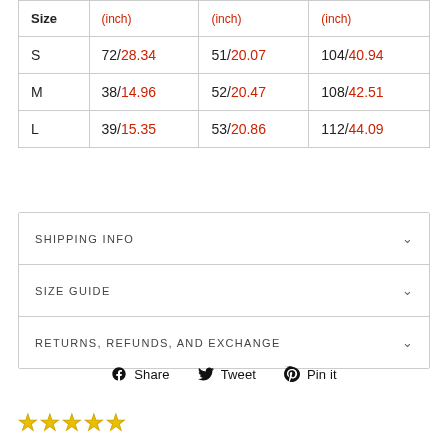| Size | (inch) | (inch) | (inch) |
| --- | --- | --- | --- |
| S | 72/28.34 | 51/20.07 | 104/40.94 |
| M | 38/14.96 | 52/20.47 | 108/42.51 |
| L | 39/15.35 | 53/20.86 | 112/44.09 |
SHIPPING INFO
SIZE GUIDE
RETURNS, REFUNDS, AND EXCHANGE
Share   Tweet   Pin it
[Figure (other): Five empty star rating icons in yellow/gold outline]